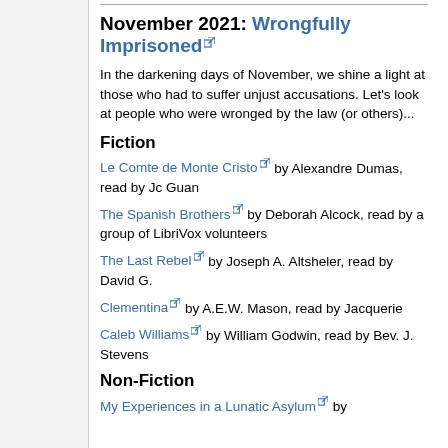November 2021: Wrongfully Imprisoned
In the darkening days of November, we shine a light at those who had to suffer unjust accusations. Let's look at people who were wronged by the law (or others)...
Fiction
Le Comte de Monte Cristo [external link] by Alexandre Dumas, read by Jc Guan
The Spanish Brothers [external link] by Deborah Alcock, read by a group of LibriVox volunteers
The Last Rebel [external link] by Joseph A. Altsheler, read by David G.
Clementina [external link] by A.E.W. Mason, read by Jacquerie
Caleb Williams [external link] by William Godwin, read by Bev. J. Stevens
Non-Fiction
My Experiences in a Lunatic Asylum [external link] by